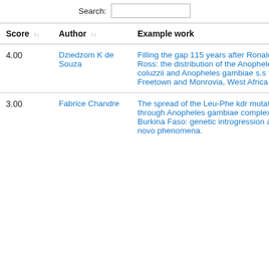| Score | Author | Example work |
| --- | --- | --- |
| 4.00 | Dziedzom K de Souza | Filling the gap 115 years after Ronald Ross: the distribution of the Anopheles coluzzii and Anopheles gambiae s.s from Freetown and Monrovia, West Africa |
| 3.00 | Fabrice Chandre | The spread of the Leu-Phe kdr mutation through Anopheles gambiae complex in Burkina Faso: genetic introgression and de novo phenomena. |